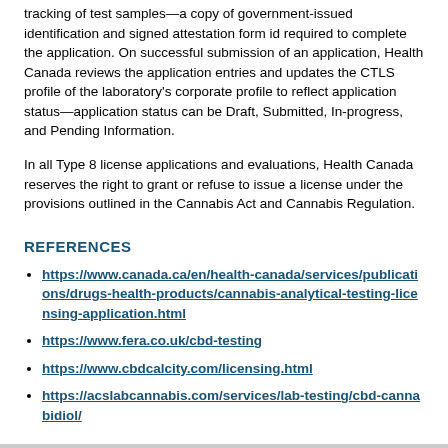tracking of test samples—a copy of government-issued identification and signed attestation form id required to complete the application. On successful submission of an application, Health Canada reviews the application entries and updates the CTLS profile of the laboratory's corporate profile to reflect application status—application status can be Draft, Submitted, In-progress, and Pending Information.
In all Type 8 license applications and evaluations, Health Canada reserves the right to grant or refuse to issue a license under the provisions outlined in the Cannabis Act and Cannabis Regulation.
REFERENCES
https://www.canada.ca/en/health-canada/services/publications/drugs-health-products/cannabis-analytical-testing-licensing-application.html
https://www.fera.co.uk/cbd-testing
https://www.cbdcalcity.com/licensing.html
https://acslabcannabis.com/services/lab-testing/cbd-cannabidiol/